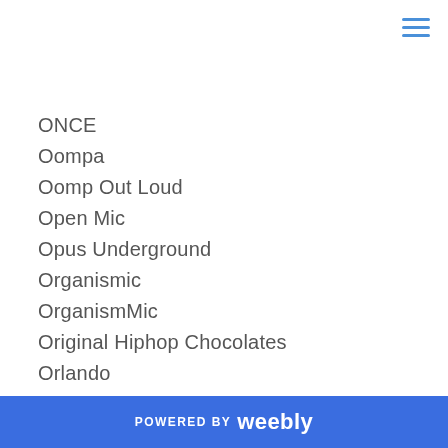ONCE
Oompa
Oomp Out Loud
Open Mic
Opus Underground
Organismic
OrganismMic
Original Hiphop Chocolates
Orlando
Paaastelitos
Paranom
Park St Cypha
Park Street Cipher
P.a.t.
POWERED BY weebly